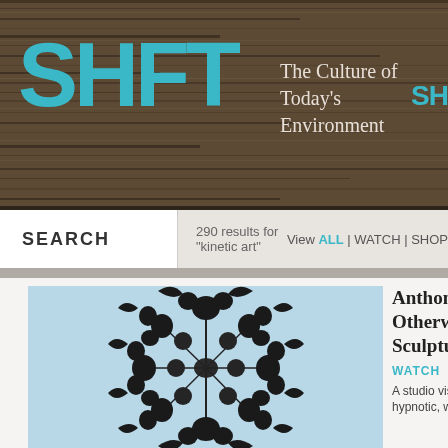SHFT — The Culture of Today's Environment
SEARCH — 290 results for "kinetic art" — View ALL | WATCH | SHOP
[Figure (photo): Kinetic sculpture with circular disc elements radiating outward like a flower or spiral, photographed against a light blue sky]
Anthony Howe Otherworldly Sculptures
WATCH
A studio visit reveals hypnotic, wind-powe...
[Figure (photo): Large wooden geometric kinetic sculpture with latticed framework structure in an indoor studio setting]
MAKE TV: Kinetic Sculptures
WATCH
Reuben Margolinā€™s...